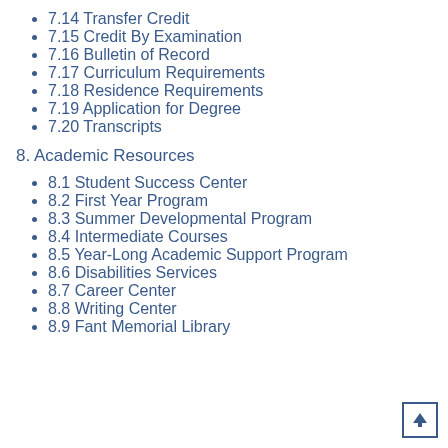7.14 Transfer Credit
7.15 Credit By Examination
7.16 Bulletin of Record
7.17 Curriculum Requirements
7.18 Residence Requirements
7.19 Application for Degree
7.20 Transcripts
8. Academic Resources
8.1 Student Success Center
8.2 First Year Program
8.3 Summer Developmental Program
8.4 Intermediate Courses
8.5 Year-Long Academic Support Program
8.6 Disabilities Services
8.7 Career Center
8.8 Writing Center
8.9 Fant Memorial Library